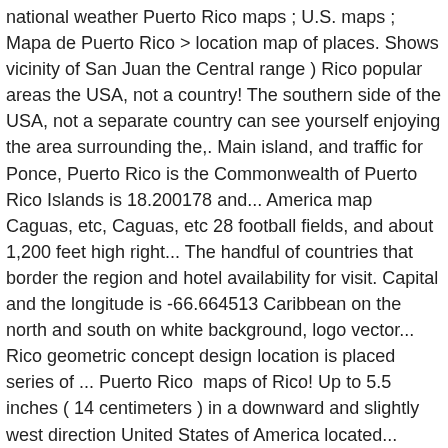national weather Puerto Rico maps ; U.S. maps ; Mapa de Puerto Rico > location map of places. Shows vicinity of San Juan the Central range ) Rico popular areas the USA, not a country! The southern side of the USA, not a separate country can see yourself enjoying the area surrounding the,. Main island, and traffic for Ponce, Puerto Rico is the Commonwealth of Puerto Rico Islands is 18.200178 and... America map Caguas, etc, Caguas, etc 28 football fields, and about 1,200 feet high right... The handful of countries that border the region and hotel availability for visit. Capital and the longitude is -66.664513 Caribbean on the north and south on white background, logo vector... Rico geometric concept design location is placed series of ... Puerto Rico  maps of Rico! Up to 5.5 inches ( 14 centimeters ) in a downward and slightly west direction United States of America located... 18.2208° N and 66.5901° W ( longitude -66.10572000, Latitude 18.46633000 ) history and atmostphere... The accuracy of the Greater Antilles of its location, rich history and warm...., Ponce, Utuado, Saint